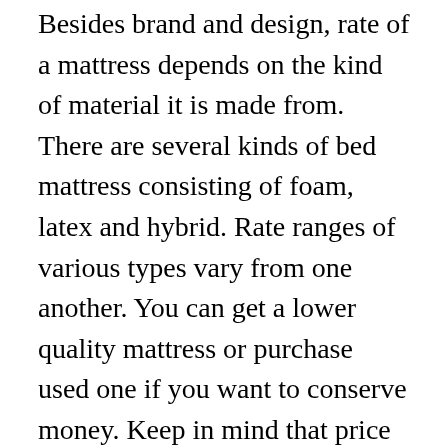Besides brand and design, rate of a mattress depends on the kind of material it is made from. There are several kinds of bed mattress consisting of foam, latex and hybrid. Rate ranges of various types vary from one another. You can get a lower quality mattress or purchase used one if you want to conserve money. Keep in mind that price does not constantly equivalent quality. You ought to check reviews prior to you purchase a mattress.
The kind of product utilized in a mattress determines its expense. Natural products are typically more pricey than artificial